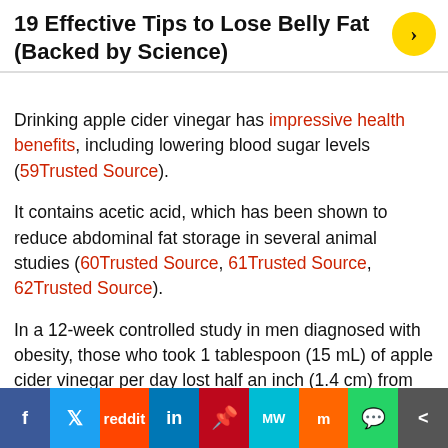19 Effective Tips to Lose Belly Fat (Backed by Science)
Drinking apple cider vinegar has impressive health benefits, including lowering blood sugar levels (59Trusted Source).
It contains acetic acid, which has been shown to reduce abdominal fat storage in several animal studies (60Trusted Source, 61Trusted Source, 62Trusted Source).
In a 12-week controlled study in men diagnosed with obesity, those who took 1 tablespoon (15 mL) of apple cider vinegar per day lost half an inch (1.4 cm) from their waists (63Trusted Source).
Taking 1–2 tablespoons (15–30 mL) of apple cider